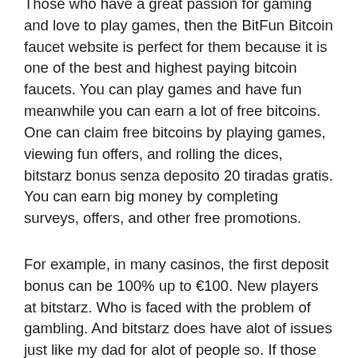Those who have a great passion for gaming and love to play games, then the BitFun Bitcoin faucet website is perfect for them because it is one of the best and highest paying bitcoin faucets. You can play games and have fun meanwhile you can earn a lot of free bitcoins. One can claim free bitcoins by playing games, viewing fun offers, and rolling the dices, bitstarz bonus senza deposito 20 tiradas gratis. You can earn big money by completing surveys, offers, and other free promotions.
For example, in many casinos, the first deposit bonus can be 100% up to €100. New players at bitstarz. Who is faced with the problem of gambling. And bitstarz does have alot of issues just like my dad for alot of people so. If those 180 bonus free spins are not important to you, you can deposit as low as 0. 20 mbtc in order to reap the benefits of the first deposit bonus. Vpn unexpectedly